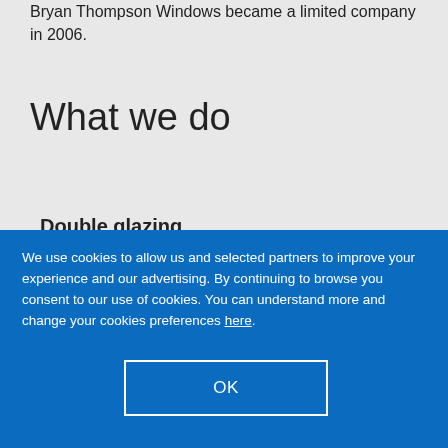Bryan Thompson Windows became a limited company in 2006.
What we do
Double glazing
We use cookies to allow us and selected partners to improve your experience and our advertising. By continuing to browse you consent to our use of cookies. You can understand more and change your cookies preferences here.
OK